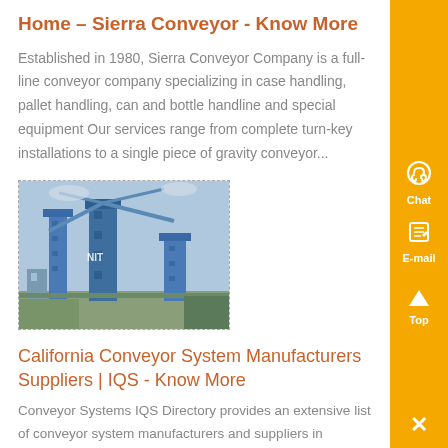Home – Sierra Conveyor - Know More
Established in 1980, Sierra Conveyor Company is a full-line conveyor company specializing in case handling, pallet handling, can and bottle handline and special equipment Our services range from complete turn-key installations to a single piece of gravity conveyor...
[Figure (photo): Industrial conveyor system with blue metal structures, cranes and machinery, with NIT branding visible.]
California Conveyor System Manufacturers Suppliers | IQS - Know More
Conveyor Systems IQS Directory provides an extensive list of conveyor system manufacturers and suppliers in